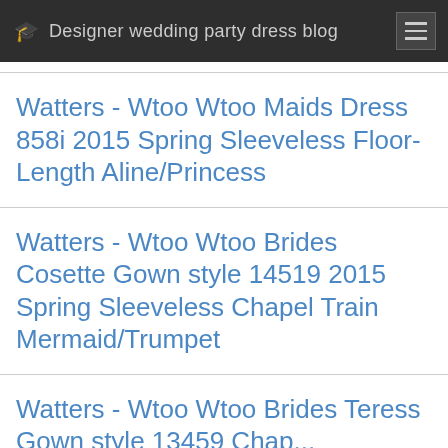Designer wedding party dress blog
Watters - Wtoo Wtoo Maids Dress 858i 2015 Spring Sleeveless Floor-Length Aline/Princess
Watters - Wtoo Wtoo Brides Cosette Gown style 14519 2015 Spring Sleeveless Chapel Train Mermaid/Trumpet
Watters - Wtoo Wtoo Brides Teress Gown style 13458 Chap...